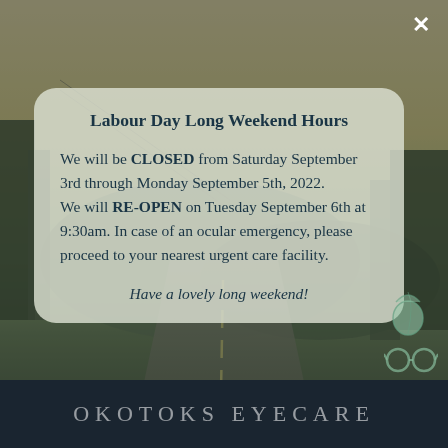[Figure (photo): Background photo of a rural road at dusk with trees and mountains, overlaid with dark tint]
Labour Day Long Weekend Hours
We will be CLOSED from Saturday September 3rd through Monday September 5th, 2022. We will RE-OPEN on Tuesday September 6th at 9:30am. In case of an ocular emergency, please proceed to your nearest urgent care facility.
Have a lovely long weekend!
OKOTOKS EYECARE